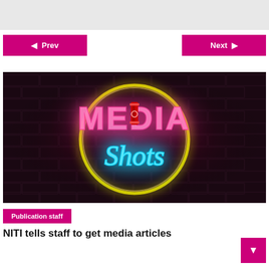[Figure (screenshot): Gray header bar at top of webpage]
◀ Prev
Next ▶
[Figure (logo): Media Shots neon sign logo on dark brick wall background. Text says MEDIA Shots in pink, blue and yellow neon colors with a yellow neon circle around it.]
Publication staff
NITI tells staff to get media articles